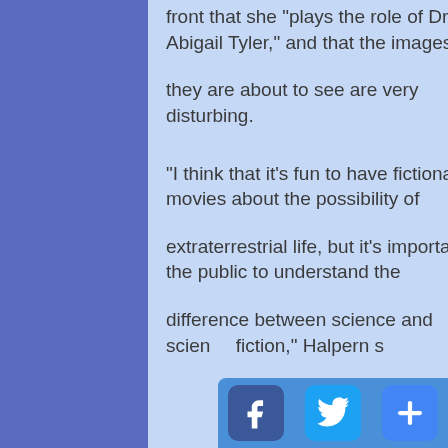front that she "plays the role of Dr. Abigail Tyler," and that the images
they are about to see are very disturbing.
"I think that it's fun to have fictional movies about the possibility of
extraterrestrial life, but it's important for the public to understand the
difference between science and science fiction," Halpern s